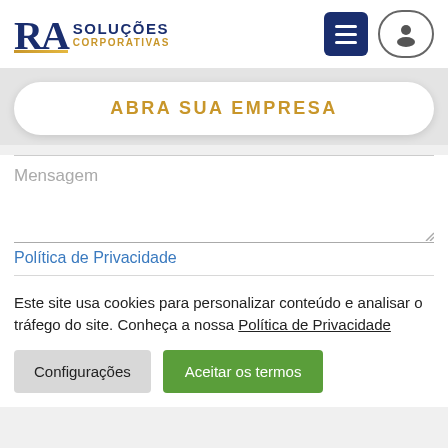[Figure (logo): RA Soluções Corporativas logo with dark blue serif RA letters and gold underline, SOLUÇÕES in dark blue uppercase, CORPORATIVAS in gold uppercase]
ABRA SUA EMPRESA
Mensagem
Política de Privacidade
Este site usa cookies para personalizar conteúdo e analisar o tráfego do site. Conheça a nossa Política de Privacidade
Configurações
Aceitar os termos